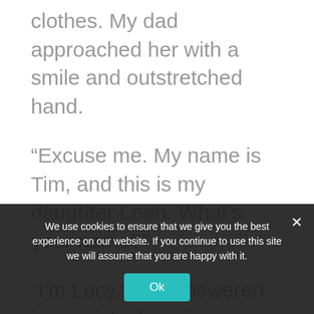clothes. My dad approached her with a smile and outstretched hand.
“Excuse me. My name is Tim, and this is my daughter Leah. What’s your name?”
“I’m Lucy,” she answered in a quiet, shy voice.
My dad explained what we were doing. “Would you mind if Leah takes some pictures of you
We use cookies to ensure that we give you the best experience on our website. If you continue to use this site we will assume that you are happy with it.
Ok